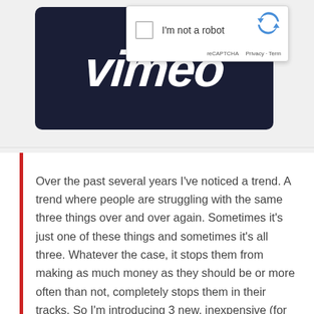[Figure (screenshot): Screenshot showing Vimeo logo on dark navy background with a reCAPTCHA 'I'm not a robot' overlay widget in the top right corner]
Over the past several years I've noticed a trend. A trend where people are struggling with the same three things over and over again. Sometimes it's just one of these things and sometimes it's all three. Whatever the case, it stops them from making as much money as they should be or more often than not, completely stops them in their tracks. So I'm introducing 3 new, inexpensive (for now) services to help fix this.